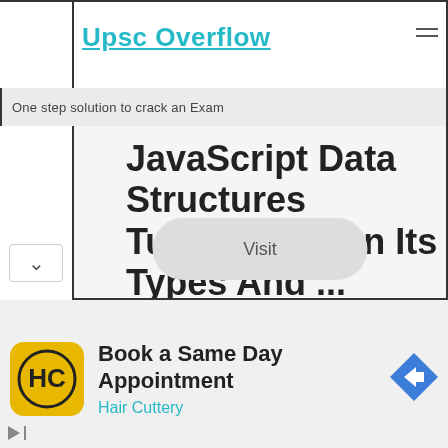Upsc Overflow
One step solution to crack an Exam
JavaScript Data Structures Tutorial - Learn Its Types And ...
We are going to perform the following operations as follows:
Visit
Book a Same Day Appointment
Hair Cuttery